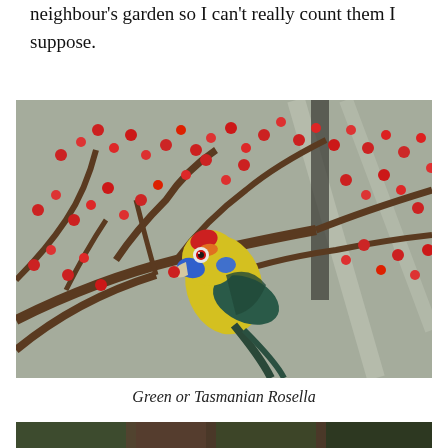neighbour's garden so I can't really count them I suppose.
[Figure (photo): A Green or Tasmanian Rosella parrot perched on a branch among dense red berries, with a concrete wall in the background. The bird has a yellow breast, blue cheeks, red forehead, and dark green wings.]
Green or Tasmanian Rosella
[Figure (photo): Partial view of another photograph at the bottom of the page, showing a garden scene.]